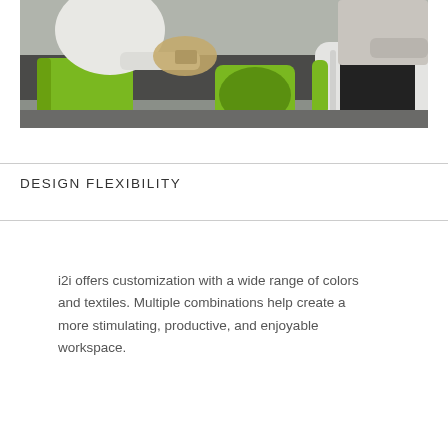[Figure (photo): Classroom photo showing students sitting in green and white modern chairs with attached tablet-arm desks, viewed from the side in a collaborative seating arrangement.]
DESIGN FLEXIBILITY
i2i offers customization with a wide range of colors and textiles. Multiple combinations help create a more stimulating, productive, and enjoyable workspace.